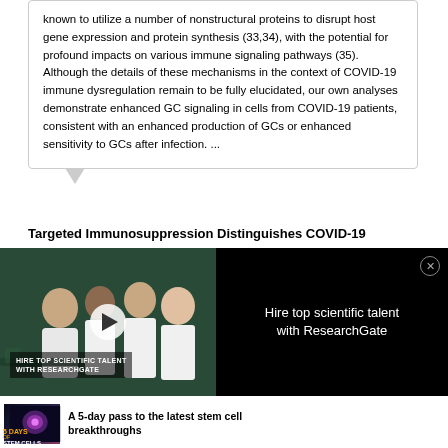known to utilize a number of nonstructural proteins to disrupt host gene expression and protein synthesis (33,34), with the potential for profound impacts on various immune signaling pathways (35). Although the details of these mechanisms in the context of COVID-19 immune dysregulation remain to be fully elucidated, our own analyses demonstrate enhanced GC signaling in cells from COVID-19 patients, consistent with an enhanced production of GCs or enhanced sensitivity to GCs after infection. ...
Targeted Immunosuppression Distinguishes COVID-19
[Figure (photo): Advertisement overlay showing scientists in lab coats taking a selfie, with play button. Text overlay reads 'HIRE TOP SCIENTIFIC TALENT WITH RESEARCHGATE'. Right side has text 'Hire top scientific talent with ResearchGate' on black background with close button.]
[Figure (photo): Small thumbnail for '5 Days of Stem Cells' promotion showing a glowing sphere on dark background.]
A 5-day pass to the latest stem cell breakthroughs